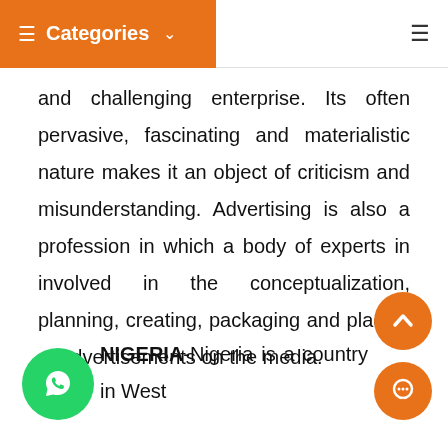☰ Categories ∨  ☰
and challenging enterprise. Its often pervasive, fascinating and materialistic nature makes it an object of criticism and misunderstanding. Advertising is also a profession in which a body of experts in involved in the conceptualization, planning, creating, packaging and placing of advertisements on the media.
NIGERIA-Nigeria is a country in West